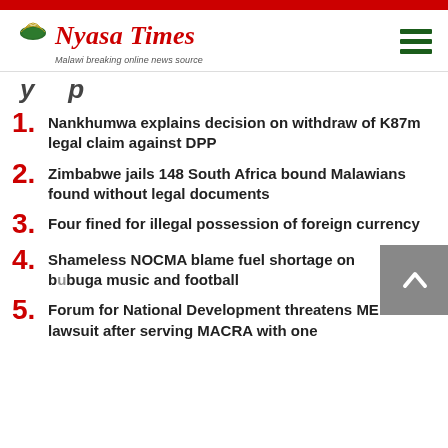[Figure (logo): Nyasa Times logo with arch/dome icon, red serif text, and tagline 'Malawi breaking online news source']
y p
1. Nankhumwa explains decision on withdraw of K87m legal claim against DPP
2. Zimbabwe jails 148 South Africa bound Malawians found without legal documents
3. Four fined for illegal possession of foreign currency
4. Shameless NOCMA blame fuel shortage on b[uga] buga music and football
5. Forum for National Development threatens MERA with lawsuit after serving MACRA with one